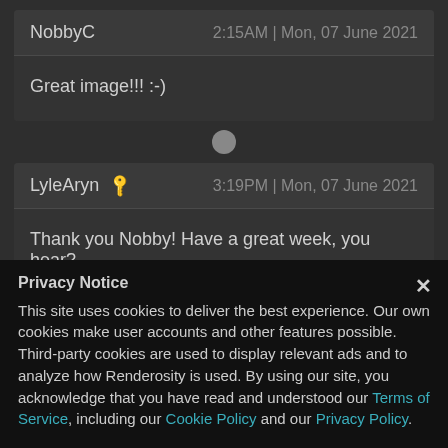NobbyC   2:15AM | Mon, 07 June 2021
Great image!!! :-)
LyleAryn 🔑   3:19PM | Mon, 07 June 2021
Thank you Nobby! Have a great week, you hear?
Privacy Notice
This site uses cookies to deliver the best experience. Our own cookies make user accounts and other features possible. Third-party cookies are used to display relevant ads and to analyze how Renderosity is used. By using our site, you acknowledge that you have read and understood our Terms of Service, including our Cookie Policy and our Privacy Policy.